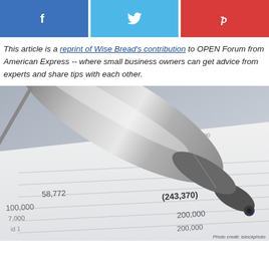[Figure (other): Social media share buttons: Facebook (blue), Twitter (light blue), Pinterest (red)]
This article is a reprint of Wise Bread's contribution to OPEN Forum from American Express -- where small business owners can get advice from experts and share tips with each other.
[Figure (photo): Close-up photo of a silver ballpoint pen resting on a financial document showing numbers including (285,000), 41,630, 58,772, (243,370), 100,000, 7,000, 200,000, 200,000]
Photo credit: [attribution partially visible]